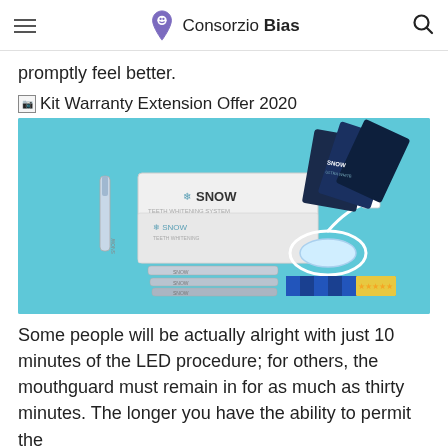Consorzio Bias
promptly feel better.
[Figure (photo): Snow teeth whitening kit product photo showing box, whitening pens, LED mouthpiece with USB cable, and instruction booklets on a light blue background. Caption label: Kit Warranty Extension Offer 2020]
Some people will be actually alright with just 10 minutes of the LED procedure; for others, the mouthguard must remain in for as much as thirty minutes. The longer you have the ability to permit the